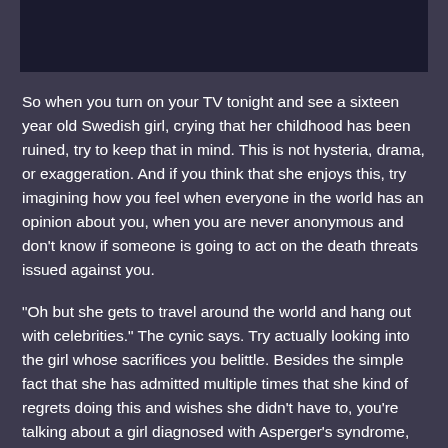[Figure (photo): Dark image block at top of page]
So when you turn on your TV tonight and see a sixteen year old Swedish girl, crying that her childhood has been ruined, try to keep that in mind. This is not hysteria, drama, or exaggeration. And if you think that she enjoys this, try imagining how you feel when everyone in the world has an opinion about you, when you are never anonymous and don't know if someone is going to act on the death threats issued against you.
“Oh but she gets to travel around the world and hang out with celebrities.” The cynic says. Try actually looking into the girl whose sacrifices you belittle. Besides the simple fact that she has admitted multiple times that she kind of regrets doing this and wishes she didn’t have to, you’re talking about a girl diagnosed with Asperger’s syndrome, who went years without talking to anybody outside of her direct family. I have colleagues who suffer the same syndrome. They disappear